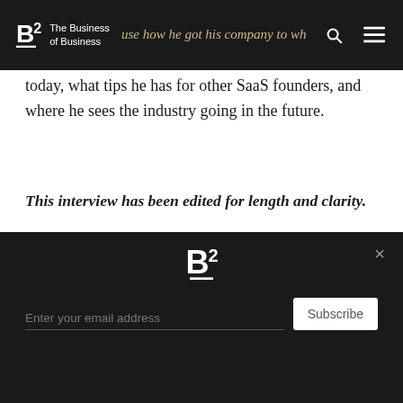B2 The Business of Business
companies to the point that he has. We sat down with him to discuss how he got his company to where it is today, what tips he has for other SaaS founders, and where he sees the industry going in the future.
This interview has been edited for length and clarity.
Congrats on your most recent funding round. How did it come about?
We were not out looking to fundraise at all. Blackstone